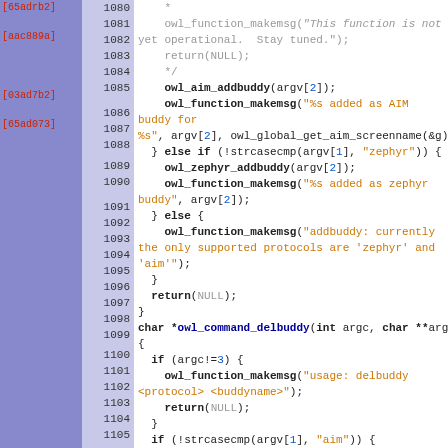[Figure (screenshot): Source code viewer showing C code for owl_command_addbuddy and owl_command_delbuddy functions with line numbers 1080-1105, git blame annotations in the gutter, and syntax highlighting.]